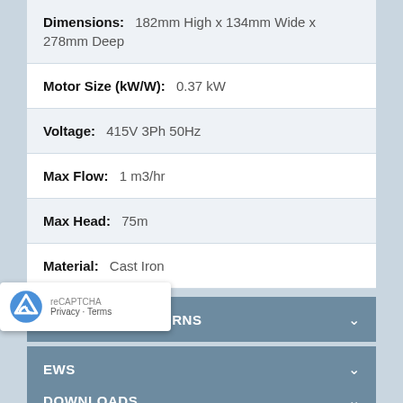| Specification | Value |
| --- | --- |
| Dimensions: | 182mm High x 134mm Wide x 278mm Deep |
| Motor Size (kW/W): | 0.37 kW |
| Voltage: | 415V 3Ph 50Hz |
| Max Flow: | 1 m3/hr |
| Max Head: | 75m |
| Material: | Cast Iron |
DELIVERY & RETURNS
EWS
DOWNLOADS